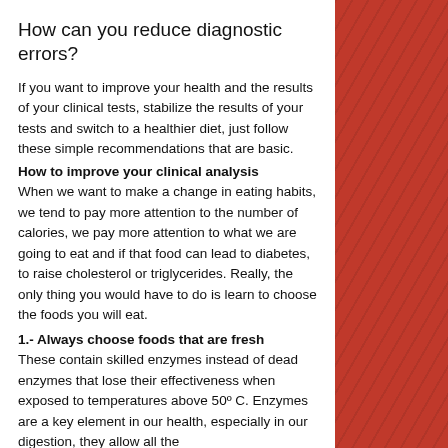How can you reduce diagnostic errors?
If you want to improve your health and the results of your clinical tests, stabilize the results of your tests and switch to a healthier diet, just follow these simple recommendations that are basic.
How to improve your clinical analysis
When we want to make a change in eating habits, we tend to pay more attention to the number of calories, we pay more attention to what we are going to eat and if that food can lead to diabetes, to raise cholesterol or triglycerides. Really, the only thing you would have to do is learn to choose the foods you will eat.
1.- Always choose foods that are fresh
These contain skilled enzymes instead of dead enzymes that lose their effectiveness when exposed to temperatures above 50º C. Enzymes are a key element in our health, especially in our digestion, they allow all the